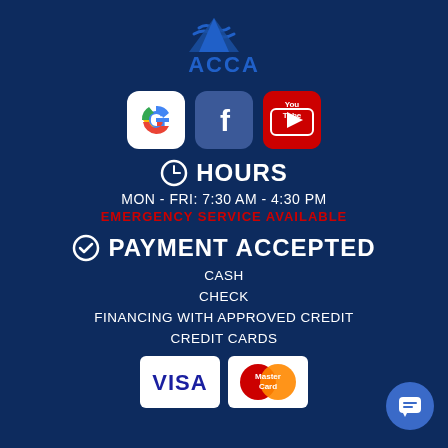[Figure (logo): ACCA company logo with blue wave/mountain symbol and ACCA text in blue]
[Figure (infographic): Three social media icons in a row: Google (white rounded square with G), Facebook (blue rounded square with f), YouTube (red rounded square with You Tube text)]
HOURS
MON - FRI: 7:30 AM - 4:30 PM
EMERGENCY SERVICE AVAILABLE
PAYMENT ACCEPTED
CASH
CHECK
FINANCING WITH APPROVED CREDIT
CREDIT CARDS
[Figure (illustration): VISA card logo (white rounded rectangle with blue VISA text) and MasterCard logo (overlapping red and orange circles with MasterCard text)]